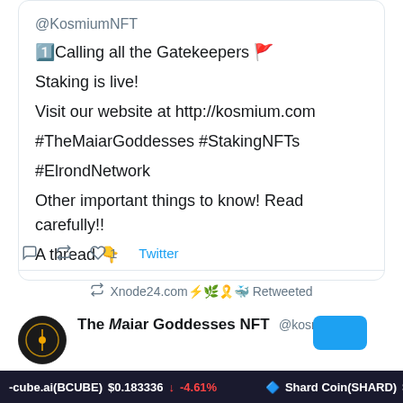@KosmiumNFT
1️⃣Calling all the Gatekeepers 🚩
Staking is live!
Visit our website at http://kosmium.com
#TheMaiarGoddesses #StakingNFTs
#ElrondNetwork
Other important things to know! Read carefully!!
A thread 👇
reply retweet 1 like Twitter
Xnode24.com⚡🌿🎗️🐳 Retweeted
The Maiar Goddesses NFT @kosmiumnft
-cube.ai(BCUBE) $0.183336 ↓ -4.61%   Shard Coin(SHARD) $0.2